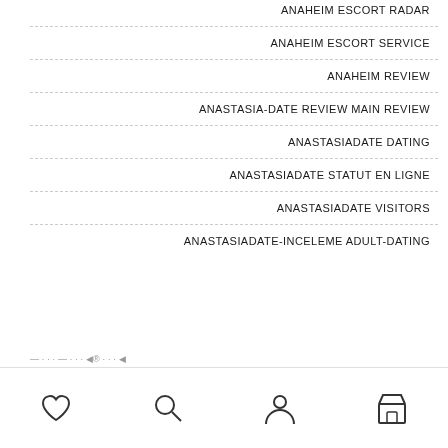ANAHEIM ESCORT RADAR
ANAHEIM ESCORT SERVICE
ANAHEIM REVIEW
ANASTASIA-DATE REVIEW MAIN REVIEW
ANASTASIADATE DATING
ANASTASIADATE STATUT EN LIGNE
ANASTASIADATE VISITORS
ANASTASIADATE-INCELEME ADULT-DATING
Navigation bar with icons: heart, search, person, shop